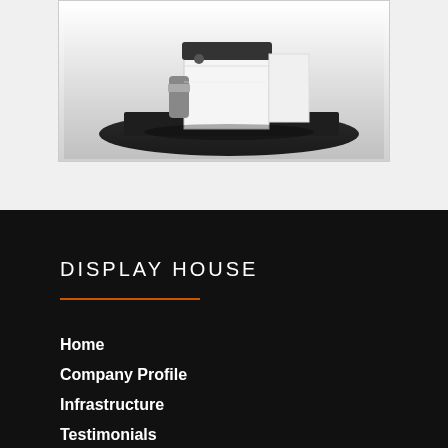[Figure (photo): A 3D render or product photograph of a retail display unit or industrial device placed on a black mat/platform, shown against a white-to-grey gradient background.]
RETAIL
DISPLAY HOUSE
Home
Company Profile
Infrastructure
Testimonials